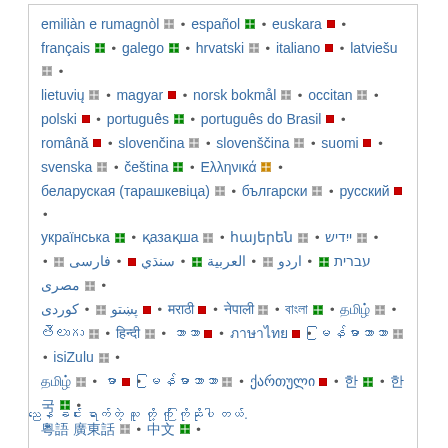emiliàn e rumagnòl • español • euskara • français • galego • hrvatski • italiano • latviešu • lietuvių • magyar • norsk bokmål • occitan • polski • português • português do Brasil • română • slovenčina • slovenščina • suomi • svenska • čeština • Ελληνικά • беларуская (тарашкевіца) • български • русский • українська • қазақша • հայերեն • ייִדיש • עברית • اردو • العربية • سنڌي • فارسی • مصرى • پښتو • کوردی • [script] • [script] • [script] • [script] • [script] • [script] • [script] • [script] • [script] • [script] • [script] • [script] • ქართული • [script] • [script] • [script] • [script]
[footer text in non-Latin script]